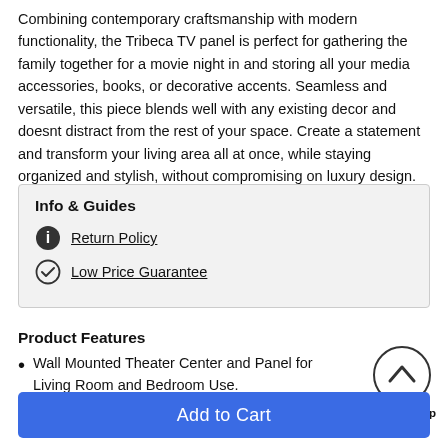Combining contemporary craftsmanship with modern functionality, the Tribeca TV panel is perfect for gathering the family together for a movie night in and storing all your media accessories, books, or decorative accents. Seamless and versatile, this piece blends well with any existing decor and doesnt distract from the rest of your space. Create a statement and transform your living area all at once, while staying organized and stylish, without compromising on luxury design.
Info & Guides
Return Policy
Low Price Guarantee
Product Features
Wall Mounted Theater Center and Panel for Living Room and Bedroom Use.
[Figure (other): Back To Top button with upward chevron arrow circle icon]
Add to Cart